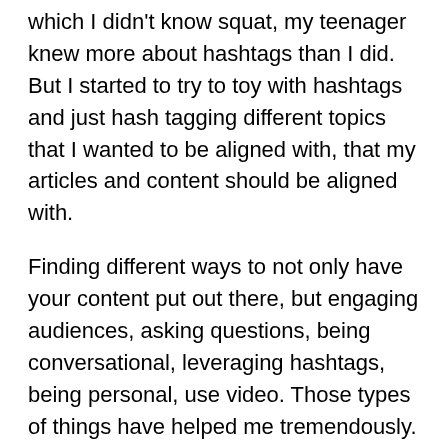which I didn't know squat, my teenager knew more about hashtags than I did. But I started to try to toy with hashtags and just hash tagging different topics that I wanted to be aligned with, that my articles and content should be aligned with.
Finding different ways to not only have your content put out there, but engaging audiences, asking questions, being conversational, leveraging hashtags, being personal, use video. Those types of things have helped me tremendously. Now, to Fred's point, not every post is a hit but a lot of them get thousands of views.
Fred Diamond: That's a great point too, using social selling, we all hear about a viral tweet or a viral post and it really doesn't work that way. Maybe you get a